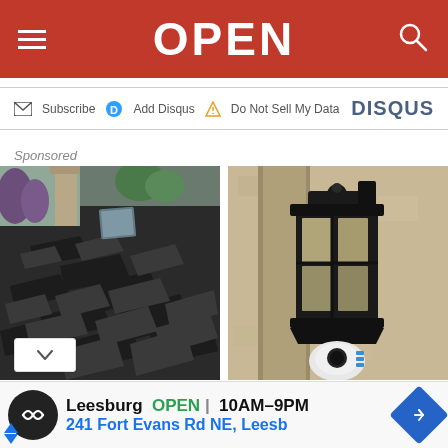OPEN
Subscribe  Add Disqus  Do Not Sell My Data  DISQUS
Sponsored
[Figure (photo): Damaged roof shingles on a house, showing curled and lifted asphalt shingles]
[Figure (photo): Outdoor wall lantern light fixture with a security camera below it on a stucco wall]
Leesburg  OPEN  10AM–9PM  241 Fort Evans Rd NE, Leesb